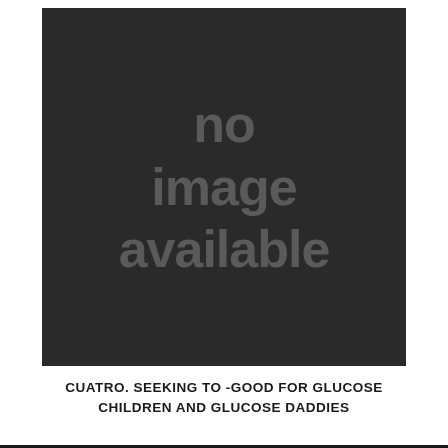[Figure (other): Dark grey rectangle placeholder image showing the text 'no image available' in large grey bold letters]
CUATRO. SEEKING TO -GOOD FOR GLUCOSE CHILDREN AND GLUCOSE DADDIES